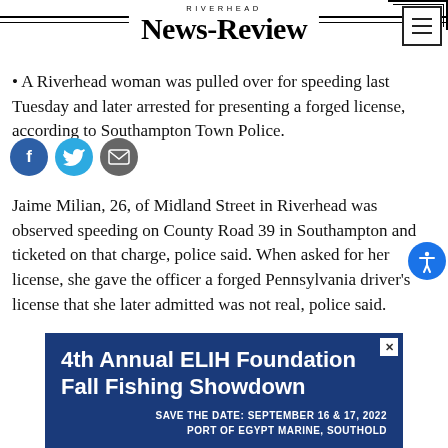RIVERHEAD NEWS-REVIEW
• A Riverhead woman was pulled over for speeding last Tuesday and later arrested for presenting a forged license, according to Southampton Town Police.
Jaime Milian, 26, of Midland Street in Riverhead was observed speeding on County Road 39 in Southampton and ticketed on that charge, police said. When asked for her license, she gave the officer a forged Pennsylvania driver's license that she later admitted was not real, police said.
[Figure (infographic): Advertisement: 4th Annual ELIH Foundation Fall Fishing Showdown. SAVE THE DATE: SEPTEMBER 16 & 17, 2022 PORT OF EGYPT MARINE, SOUTHOLD]